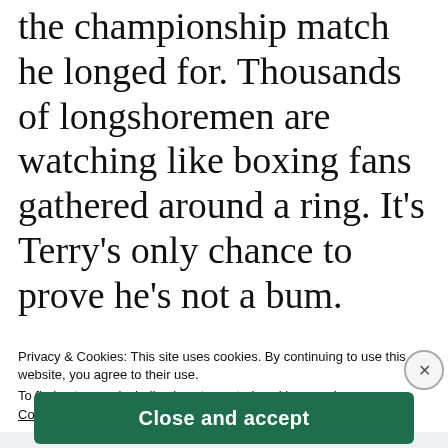the championship match he longed for. Thousands of longshoremen are watching like boxing fans gathered around a ring. It's Terry's only chance to prove he's not a bum.
[Figure (photo): Partial image with filename 'on-the-waterfront-brando-returns-docks.jpg' visible, partially obscured by cookie consent overlay]
Privacy & Cookies: This site uses cookies. By continuing to use this website, you agree to their use.
To find out more, including how to control cookies, see here:
Cookie Policy
Close and accept